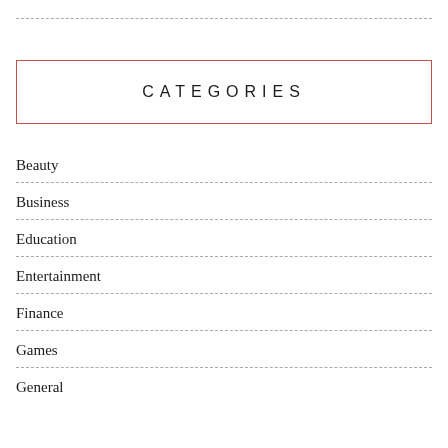CATEGORIES
Beauty
Business
Education
Entertainment
Finance
Games
General